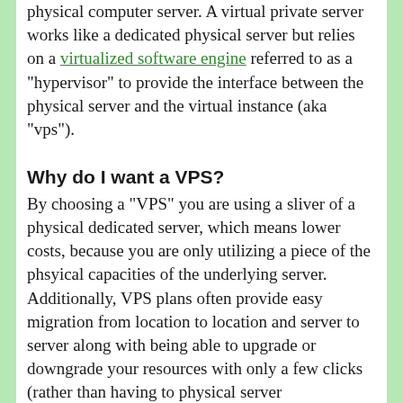physical computer server. A virtual private server works like a dedicated physical server but relies on a virtualized software engine referred to as a "hypervisor" to provide the interface between the physical server and the virtual instance (aka "vps").
Why do I want a VPS?
By choosing a "VPS" you are using a sliver of a physical dedicated server, which means lower costs, because you are only utilizing a piece of the phsyical capacities of the underlying server. Additionally, VPS plans often provide easy migration from location to location and server to server along with being able to upgrade or downgrade your resources with only a few clicks (rather than having to physical server components).
Where can I find a cheap VPS?
On LowEndBox of course! Our website is dedicated to posting the best deals on cheap